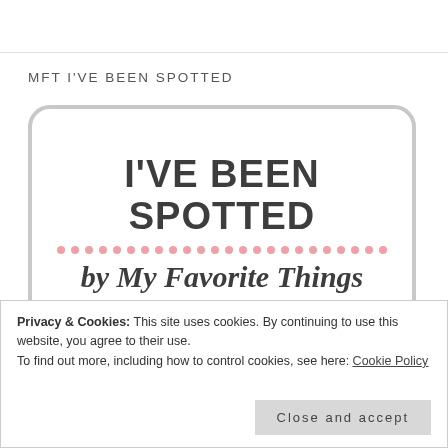MFT I'VE BEEN SPOTTED
[Figure (logo): Badge/logo graphic with bold text 'I'VE BEEN SPOTTED' on top, a row of pink dots in the middle, and italic script text 'by My Favorite Things' below, all inside a rounded rectangle border.]
Privacy & Cookies: This site uses cookies. By continuing to use this website, you agree to their use.
To find out more, including how to control cookies, see here: Cookie Policy
Close and accept